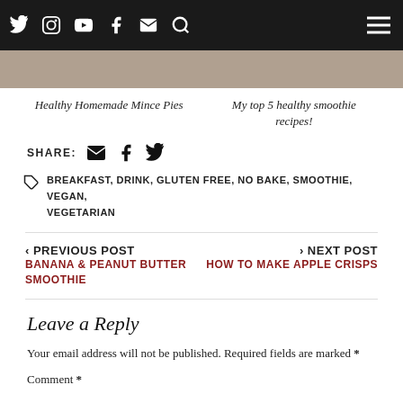Social icons: Twitter, Instagram, YouTube, Facebook, Email, Search; Hamburger menu
[Figure (photo): Image strip at top of page content area]
Healthy Homemade Mince Pies
My top 5 healthy smoothie recipes!
SHARE:
BREAKFAST, DRINK, GLUTEN FREE, NO BAKE, SMOOTHIE, VEGAN, VEGETARIAN
< PREVIOUS POST
BANANA & PEANUT BUTTER SMOOTHIE
> NEXT POST
HOW TO MAKE APPLE CRISPS
Leave a Reply
Your email address will not be published. Required fields are marked *
Comment *